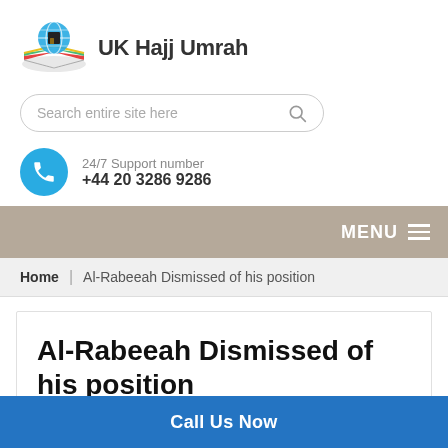[Figure (logo): UK Hajj Umrah logo with globe and Kaaba icon on colorful book design]
UK Hajj Umrah
Search entire site here
24/7 Support number
+44 20 3286 9286
MENU
Home | Al-Rabeeah Dismissed of his position
Al-Rabeeah Dismissed of his position
Call Us Now